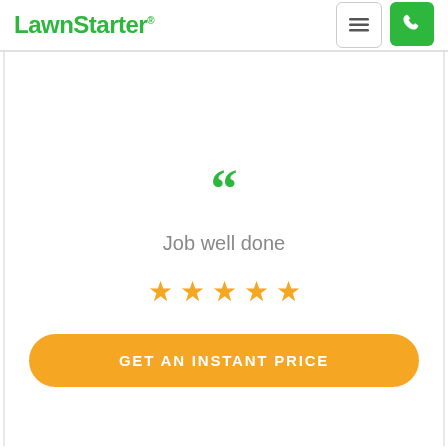LawnStarter
[Figure (illustration): Large open quote mark icon in green]
Job well done
[Figure (infographic): Five gold star rating]
GET AN INSTANT PRICE